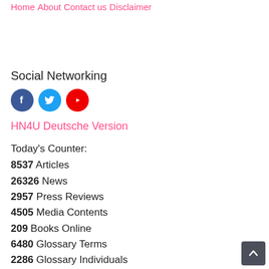Home
About
Contact us
Disclaimer
Social Networking
[Figure (infographic): Social media icons: Facebook (blue circle with f), Twitter (cyan circle with bird), YouTube (red circle with play button)]
HN4U Deutsche Version
Today's Counter:
8537 Articles
26326 News
2957 Press Reviews
4505 Media Contents
209 Books Online
6480 Glossary Terms
2286 Glossary Individuals